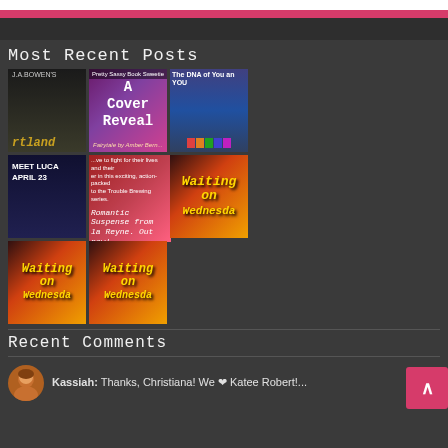Most Recent Posts
[Figure (photo): Grid of 5 book cover images: Hartland by J.A. Bowen, Cover Reveal post, The DNA of You and Me, and two Waiting on Wednesday banners]
Recent Comments
Kassiah: Thanks, Christiana! We ❤ Katee Robert!...